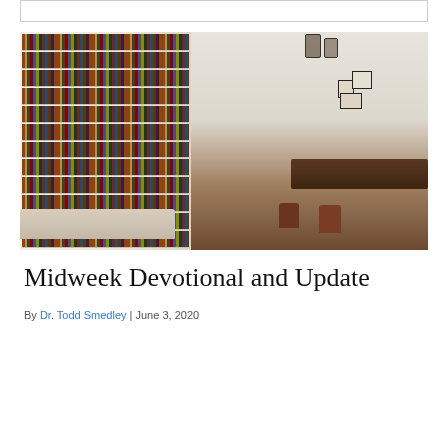[Figure (photo): Interior of a library/office room with floor-to-ceiling bookshelves filled with colorful books on the left, a wooden desk with leather chairs in the center, pendant lantern light fixtures hanging from the ceiling, framed artwork on the right wall, a cream sofa on the left, and a potted plant on the right.]
Midweek Devotional and Update
By Dr. Todd Smedley | June 3, 2020